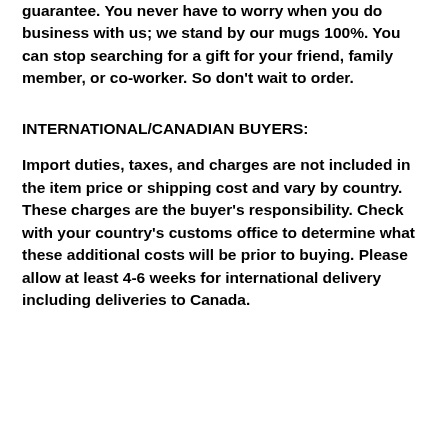guarantee. You never have to worry when you do business with us; we stand by our mugs 100%. You can stop searching for a gift for your friend, family member, or co-worker. So don't wait to order.
INTERNATIONAL/CANADIAN BUYERS:
Import duties, taxes, and charges are not included in the item price or shipping cost and vary by country. These charges are the buyer's responsibility. Check with your country's customs office to determine what these additional costs will be prior to buying. Please allow at least 4-6 weeks for international delivery including deliveries to Canada.